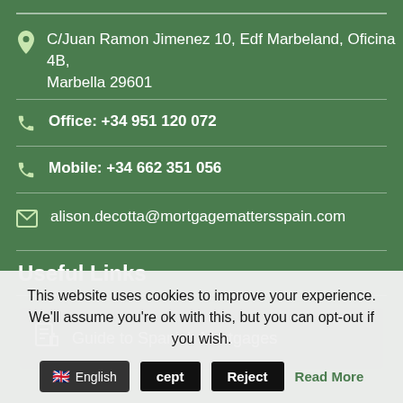C/Juan Ramon Jimenez 10, Edf Marbeland, Oficina 4B, Marbella 29601
Office: +34 951 120 072
Mobile: +34 662 351 056
alison.decotta@mortgagemattersspain.com
Useful Links
Guide to Spanish Mortgages
This website uses cookies to improve your experience. We'll assume you're ok with this, but you can opt-out if you wish.
English  Accept  Reject  Read More